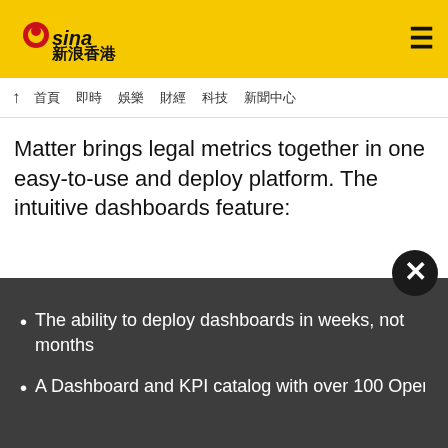sina 新浪香港
首頁 即時 娛樂 財經 科技 新聞中心
Matter brings legal metrics together in one easy-to-use and deploy platform. The intuitive dashboards feature:
The ability to deploy dashboards in weeks, not months
A Dashboard and KPI catalog with over 100 Operations...